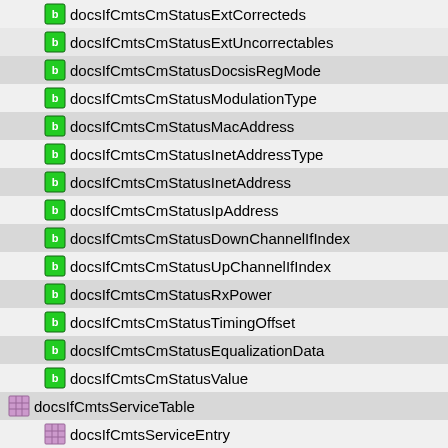docsIfCmtsCmStatusExtCorrecteds
docsIfCmtsCmStatusExtUncorrectables
docsIfCmtsCmStatusDocsisRegMode
docsIfCmtsCmStatusModulationType
docsIfCmtsCmStatusMacAddress
docsIfCmtsCmStatusInetAddressType
docsIfCmtsCmStatusInetAddress
docsIfCmtsCmStatusIpAddress
docsIfCmtsCmStatusDownChannelIfIndex
docsIfCmtsCmStatusUpChannelIfIndex
docsIfCmtsCmStatusRxPower
docsIfCmtsCmStatusTimingOffset
docsIfCmtsCmStatusEqualizationData
docsIfCmtsCmStatusValue
docsIfCmtsServiceTable
docsIfCmtsServiceEntry
docsIfCmtsServiceId
docsIfCmtsServiceCmStatusIndex
docsIfCmtsServiceAdminStatus
docsIfCmtsServiceQosProfile